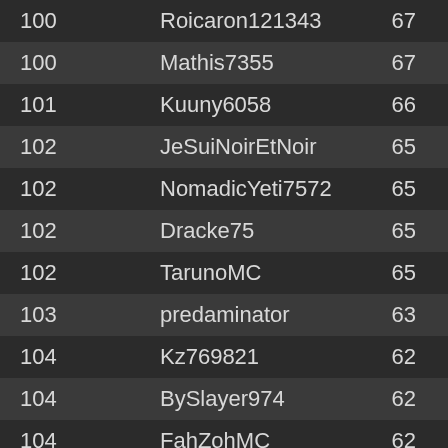| 100 | Roicaron121343 | 67 |
| 100 | Mathis7355 | 67 |
| 101 | Kuuny6058 | 66 |
| 102 | JeSuiNoirEtNoir | 65 |
| 102 | NomadicYeti7572 | 65 |
| 102 | Dracke75 | 65 |
| 102 | TarunoMC | 65 |
| 103 | predaminator | 63 |
| 104 | Kz769821 | 62 |
| 104 | BySlayer974 | 62 |
| 104 | FahZohMC | 62 |